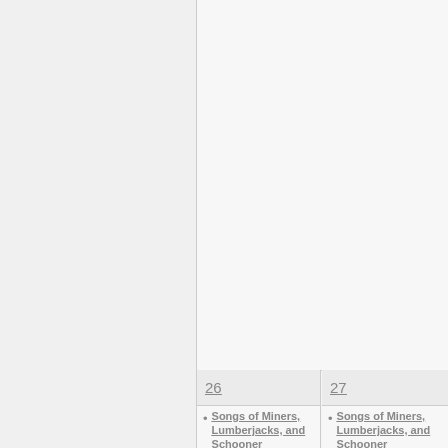26
27
Songs of Miners, Lumberjacks, and Schooner
Songs of Miners, Lumberjacks, and Schooner